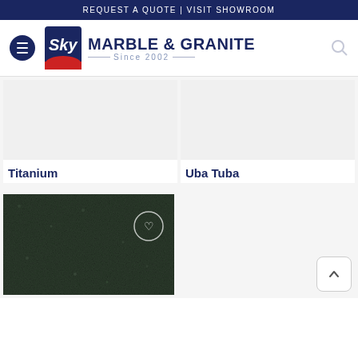REQUEST A QUOTE | VISIT SHOWROOM
[Figure (logo): Sky Marble & Granite logo with hamburger menu. Logo shows 'Sky' in italic white text on dark blue background with red arch, beside bold text 'MARBLE & GRANITE Since 2002'.]
[Figure (photo): Product image placeholder (light gray) for Titanium granite]
Titanium
[Figure (photo): Product image placeholder (light gray) for Uba Tuba granite]
Uba Tuba
[Figure (photo): Dark green/black granite texture photo for a third product, with a circular heart/favorite button overlaid in top right corner]